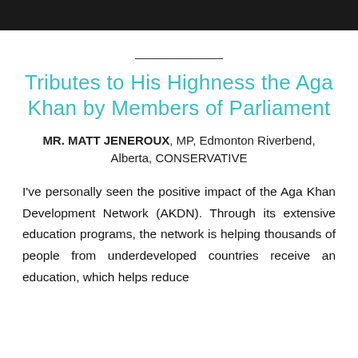[Figure (photo): Dark/black photograph strip at top of page showing people]
Tributes to His Highness the Aga Khan by Members of Parliament
MR. MATT JENEROUX, MP, Edmonton Riverbend, Alberta, CONSERVATIVE
I've personally seen the positive impact of the Aga Khan Development Network (AKDN). Through its extensive education programs, the network is helping thousands of people from underdeveloped countries receive an education, which helps reduce